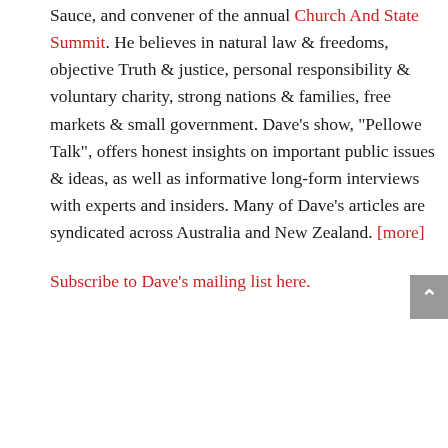Sauce, and convener of the annual Church And State Summit. He believes in natural law & freedoms, objective Truth & justice, personal responsibility & voluntary charity, strong nations & families, free markets & small government. Dave's show, "Pellowe Talk", offers honest insights on important public issues & ideas, as well as informative long-form interviews with experts and insiders. Many of Dave's articles are syndicated across Australia and New Zealand. [more]
Subscribe to Dave's mailing list here.